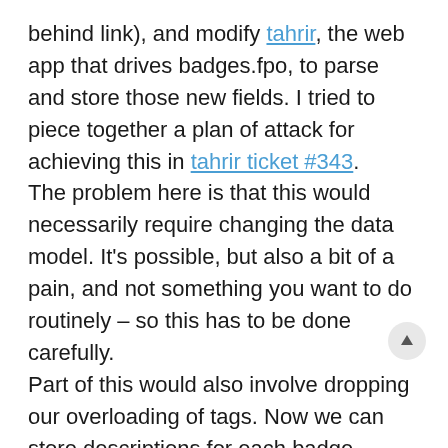behind link), and modify tahrir, the web app that drives badges.fpo, to parse and store those new fields. I tried to piece together a plan of attack for achieving this in tahrir ticket #343.
The problem here is that this would necessarily require changing the data model. It's possible, but also a bit of a pain, and not something you want to do routinely – so this has to be done carefully.
Part of this would also involve dropping our overloading of tags. Now we can store descriptions for each badge series, and store sequential ordering for individual badges, and a few other nice things tags couldn't enable.